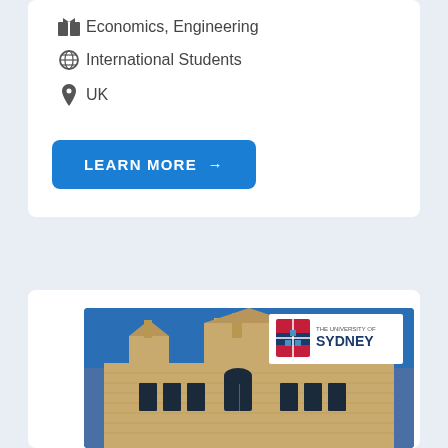Economics, Engineering
International Students
UK
LEARN MORE →
[Figure (photo): University of Sydney historic sandstone building with Gothic architecture towers against blue sky, with The University of Sydney logo overlay in top right corner]